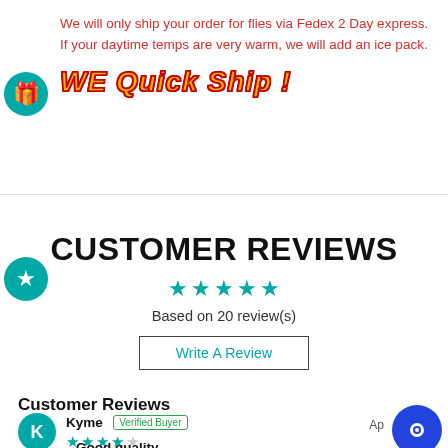We will only ship your order for flies via Fedex 2 Day express.  If your daytime temps are very warm, we will add an ice pack.
WE Quick Ship !
CUSTOMER REVIEWS
Based on 20 review(s)
Write A Review
Customer Reviews
Kyme  Verified Buyer
Good quality